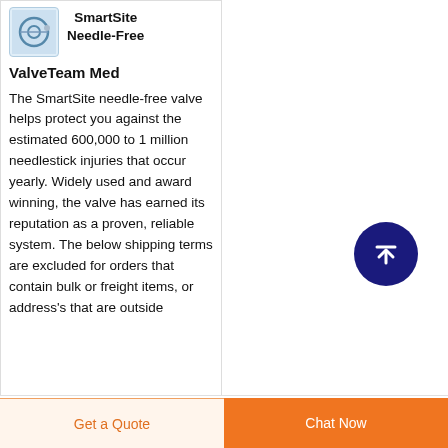[Figure (photo): SmartSite needle-free valve product image thumbnail]
SmartSite Needle-Free ValveTeam Med
The SmartSite needle-free valve helps protect you against the estimated 600,000 to 1 million needlestick injuries that occur yearly. Widely used and award winning, the valve has earned its reputation as a proven, reliable system. The below shipping terms are excluded for orders that contain bulk or freight items, or address's that are outside
[Figure (other): Scroll to top circular button with upward arrow, dark navy blue background]
Get a Quote
Chat Now